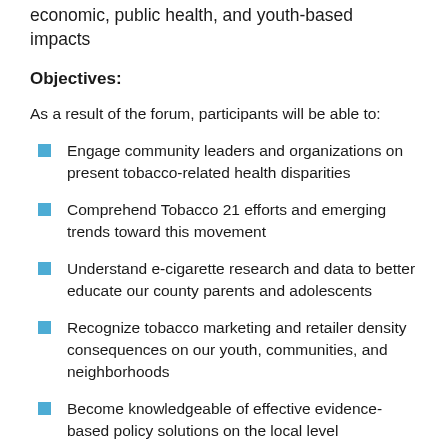economic, public health, and youth-based impacts
Objectives:
As a result of the forum, participants will be able to:
Engage community leaders and organizations on present tobacco-related health disparities
Comprehend Tobacco 21 efforts and emerging trends toward this movement
Understand e-cigarette research and data to better educate our county parents and adolescents
Recognize tobacco marketing and retailer density consequences on our youth, communities, and neighborhoods
Become knowledgeable of effective evidence-based policy solutions on the local level